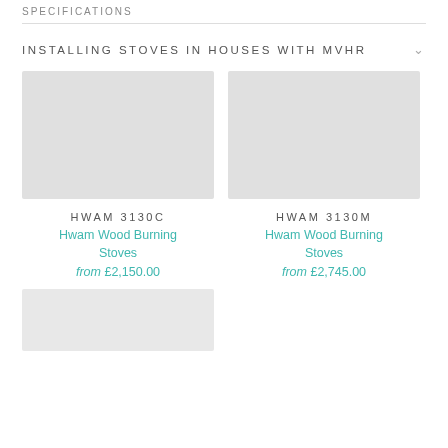SPECIFICATIONS
INSTALLING STOVES IN HOUSES WITH MVHR
[Figure (photo): Placeholder image for HWAM 3130C product]
HWAM 3130C
Hwam Wood Burning Stoves
from £2,150.00
[Figure (photo): Placeholder image for HWAM 3130M product]
HWAM 3130M
Hwam Wood Burning Stoves
from £2,745.00
[Figure (photo): Placeholder image for a third product at bottom left]